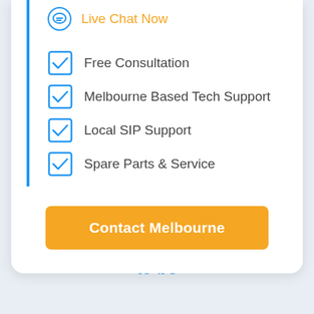Live Chat Now
Free Consultation
Melbourne Based Tech Support
Local SIP Support
Spare Parts & Service
Contact Melbourne
We're experts so you don't need to be